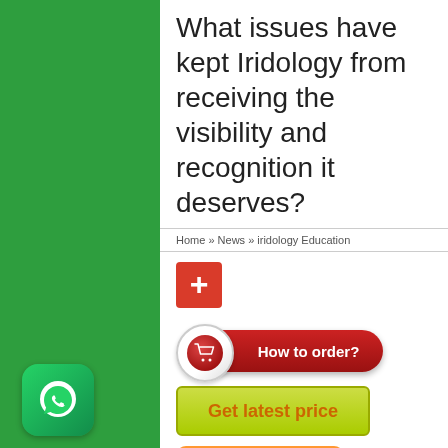What issues have kept Iridology from receiving the visibility and recognition it deserves?
Home » News » iridology Education
[Figure (infographic): Red plus/add button (square with white plus sign)]
[Figure (infographic): How to order? button with shopping cart icon on red pill-shaped button]
[Figure (infographic): Get latest price button - yellow-green rounded rectangle with orange text]
[Figure (infographic): Distributors button - orange rounded rectangle with white bold text]
Iridology has been used in a mostly non-technical way, and often by amateurs or those without rigorous training in health-care. As a result, orthodox
[Figure (logo): WhatsApp icon - green rounded square with white phone/chat logo]